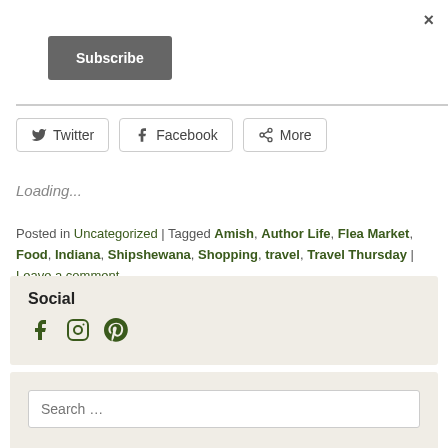×
Subscribe
Share this:
[Figure (other): Share buttons: Twitter, Facebook, More]
Loading...
Posted in Uncategorized | Tagged Amish, Author Life, Flea Market, Food, Indiana, Shipshewana, Shopping, travel, Travel Thursday | Leave a comment
Social
[Figure (other): Social media icons: Facebook, Instagram, Pinterest]
[Figure (other): Search box with placeholder text 'Search ...']